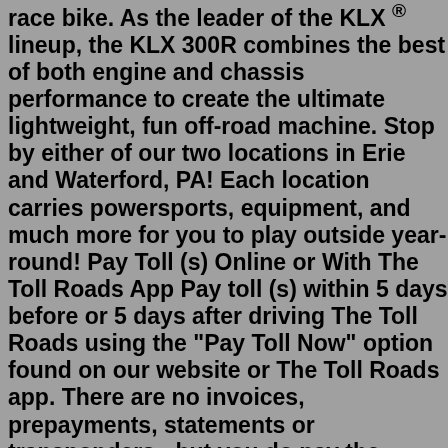race bike. As the leader of the KLX ® lineup, the KLX 300R combines the best of both engine and chassis performance to create the ultimate lightweight, fun off-road machine. Stop by either of our two locations in Erie and Waterford, PA! Each location carries powersports, equipment, and much more for you to play outside year-round! Pay Toll (s) Online or With The Toll Roads App Pay toll (s) within 5 days before or 5 days after driving The Toll Roads using the "Pay Toll Now" option found on our website or The Toll Roads app. There are no invoices, prepayments, statements or transponders - but you do pay the highest toll rates. Pay Toll (s) Now Pay Toll (s) With Cash9.1 4x4 Offroader is an addictive driving game in which you drive huge 4x4 cars and trucks. You can drive them freely in the area. Don't worry about causing damage as you can instantly repair your vehicles. Just have some fun and enjoy the game! Release Date April 2019 Developer Faramel Games developed this game.Bike Racing is a popular online